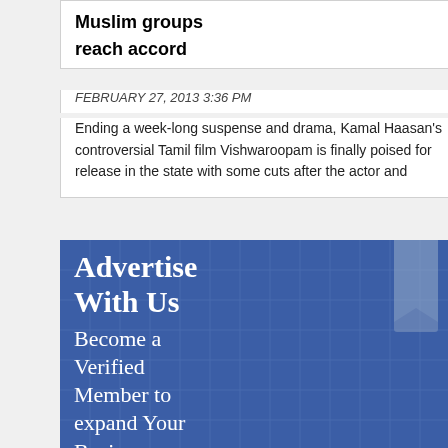Muslim groups reach accord
FEBRUARY 27, 2013 3:36 PM
Ending a week-long suspense and drama, Kamal Haasan's controversial Tamil film Vishwaroopam is finally poised for release in the state with some cuts after the actor and
[Figure (infographic): Blue advertisement banner with grid pattern and folded bookmark shape. Text reads: Advertise With Us. Become a Verified Member to expand Your Business.. just Call Us +91]